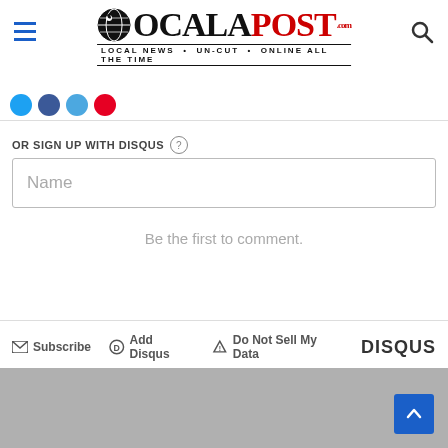Ocala Post - Local News, Un-Cut, Online All the Time
OR SIGN UP WITH DISQUS
Name
Be the first to comment.
Subscribe   Add Disqus   Do Not Sell My Data   DISQUS